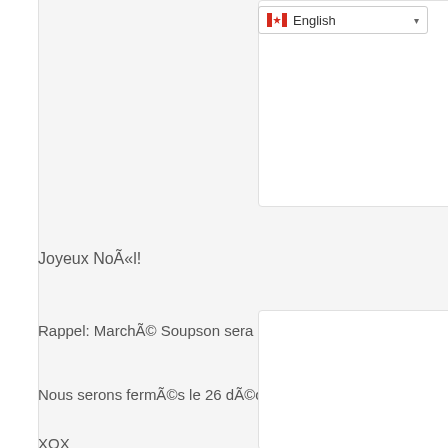[Figure (screenshot): Language selector dropdown showing Canadian flag and 'English' text with dropdown arrow]
Joyeux NoÃ«l!
Rappel: MarchÃ© Soupson sera ouvert le jour de NoÃ«l de midi Ã
Nous serons fermÃ©s le 26 dÃ©cembre pour le repos.
XOX